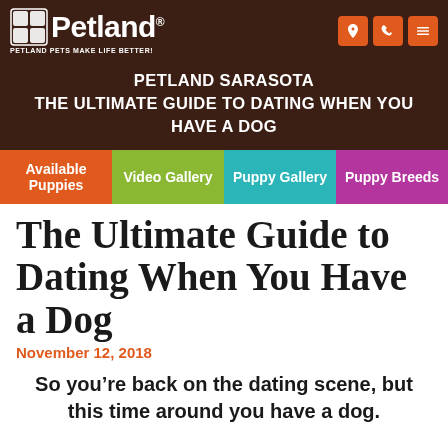[Figure (logo): Petland logo with paw print icon and tagline 'Petland Pets Make Life Better!' on dark brown background header with orange icon buttons for location, phone, and menu]
PETLAND SARASOTA
THE ULTIMATE GUIDE TO DATING WHEN YOU HAVE A DOG
[Figure (infographic): Navigation bar with four colored sections: Available Puppies (orange), Video Gallery (green), Puppy Gallery (teal), Puppy Breeds (purple)]
The Ultimate Guide to Dating When You Have a Dog
November 12, 2018
So you’re back on the dating scene, but this time around you have a dog.